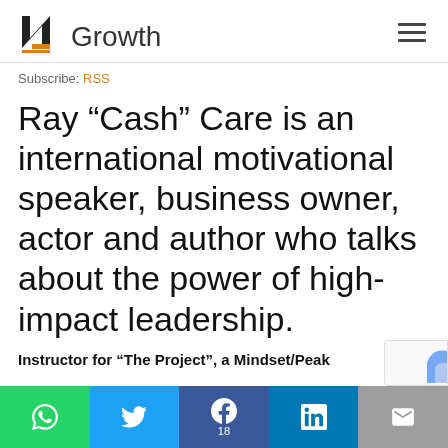[Figure (logo): NGrowth logo with stylized N in black and orange, followed by text 'Growth']
Subscribe: RSS
Ray “Cash” Care is an international motivational speaker, business owner, actor and author who talks about the power of high-impact leadership.
Instructor for “The Project”, a Mindset/Peak
[Figure (infographic): Social sharing bar with WhatsApp (green), Twitter (blue), Facebook (blue with 18 shares), LinkedIn (blue), and Email (grey) buttons]